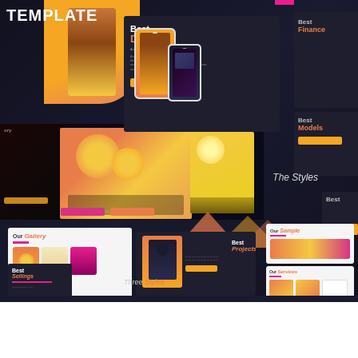[Figure (screenshot): Collage/mosaic of multiple presentation template slide previews showing various layouts including 'Best Devices', 'Best Finance', 'Our Gallery', 'Best Projects', 'Our Sample', 'Our Services', 'Best Sellings', 'Three Styles' with phone mockups, food photography, and dark/light themed slides in orange, pink, and dark color schemes. A 'TEMPLATE' title is overlaid at top-left. Bottom section shows a preview image with a Live Chat button and up-arrow navigation.]